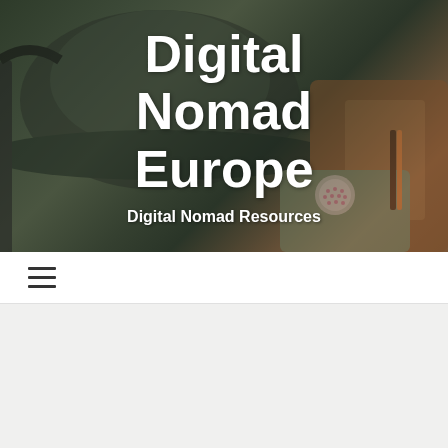[Figure (photo): Dark travel gear photo showing a wool hat, backpack, and bag as the hero background image]
Digital Nomad Europe
Digital Nomad Resources
[Figure (other): Hamburger menu icon (three horizontal lines) in the navigation bar]
[Figure (photo): Photo of large tropical green leaves (monstera/banana plant) on a light wood floor background]